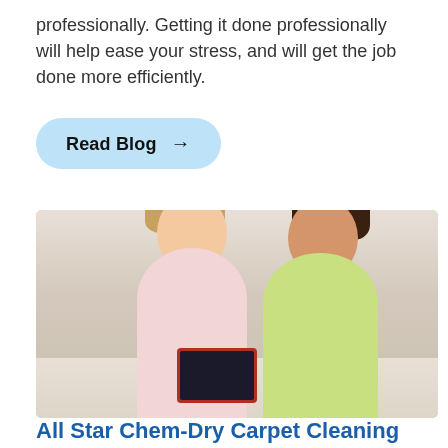professionally. Getting it done professionally will help ease your stress, and will get the job done more efficiently.
Read Blog →
[Figure (photo): Two smiling girls lying on a carpet, one with blonde hair wearing pink, one with dark hair wearing green, looking at a tablet]
All Star Chem-Dry Carpet Cleaning